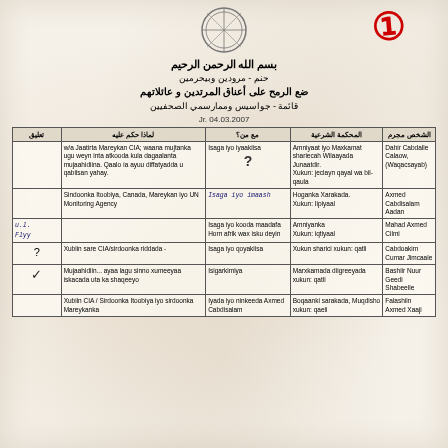[Figure (logo): Circular official stamp/seal in center top]
بسم الله الرحمن الرحيم
حنم - مرودين وبيحرمين
ضع الرمح على أعناق المرتدين و عائلاتهم
قائمة - جواسيس وممارسمي الصحفيين
Jr. 04.03.2007
| تعليق | لماذا حكم عليه | مع من؟ | المحكمة الشرعية | الشخص مجرم |
| --- | --- | --- | --- | --- |
|  | w/a Jaatirta Mareykan CIA; waana mujtanka ugu weyn inta atkooda kula dagaalanta mujaahidiina. Qaalo ía ayuu diffatyadda u qabilsan yahay. | Isaga iyo iyaakiisa ? | Amniyaat iyo Maxkamat sharieah Wilaayada Junaatdir. Xukun: jeclayn qayal wa bil-qaula | Dahir Cabdalle Calaow, (Waqacsayab) |
|  | Sindoonka Itoobiya, Canada, Mareykan iyo UN Monitoring Agency | Isaga iyo imaash [handwritten] | Hoganka Xarakada. Xukun: Iipiyaal | Axmed Cabdisalam Aadan |
| u.l. Flyy [handwritten] |  | Isaga iyo kooda maadafa Horn afrik wax isku deyin | Amniyanka Xukun: iqtiyaal | Mahad Axmed Cilmi |
| ? | Xubiin sare CIA/sirdoonka riddada - | Isaga iyo qoyakiisa | Xukun sharici xukun: qatli | Cabdoakim Cumar Jimcaale |
| ✓ | Mujaahidiin... ayaa lagu sinno xumeeyaa iskacada uta ka shaqeeyo | Isigarkimiya | Marxkamada diigreeyada xukun: qatli | Bashiir Nuur Geedi Shabeelle |
|  | Xubiin CIA / Sirdoonka Itoobiya iyo sirdoonka Mareykanka | Iyada iyo ninkeeda Axmed Cabdisalam | Boqaanki sarakada, Muqdisho xukun: qaeli | Falashiin Axmed Xaaji |